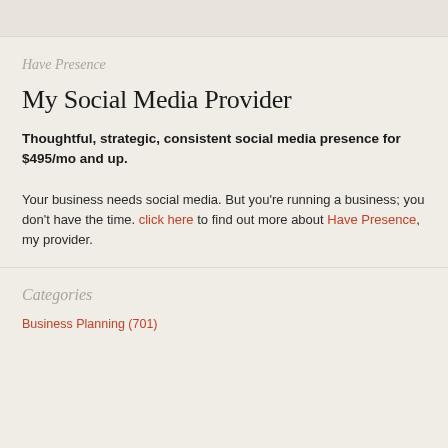Have Presence
My Social Media Provider
Thoughtful, strategic, consistent social media presence for $495/mo and up.
Your business needs social media. But you're running a business; you don't have the time. click here to find out more about Have Presence, my provider.
Categories
Business Planning (701)